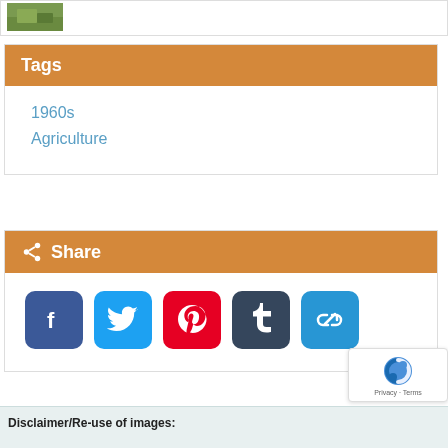[Figure (photo): Small thumbnail image of a green agricultural scene at top left]
Tags
1960s
Agriculture
Share
[Figure (other): Row of social media sharing icons: Facebook, Twitter, Pinterest, Tumblr, and a link/copy icon]
[Figure (other): reCAPTCHA badge with logo and Privacy · Terms text]
Disclaimer/Re-use of images: